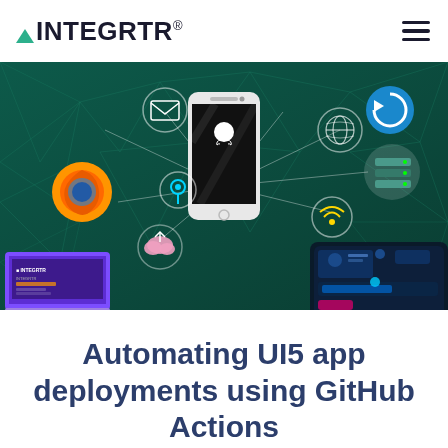INTEGRTR®
[Figure (illustration): Hero banner with dark teal geometric background showing a smartphone with GitHub logo on screen, surrounded by circular icons for email, Firefox, cloud upload, location pin, globe, WiFi, cloud server, and data integration. INTEGRTR branded laptop and a glowing blue tablet UI are shown at the bottom corners.]
Automating UI5 app deployments using GitHub Actions